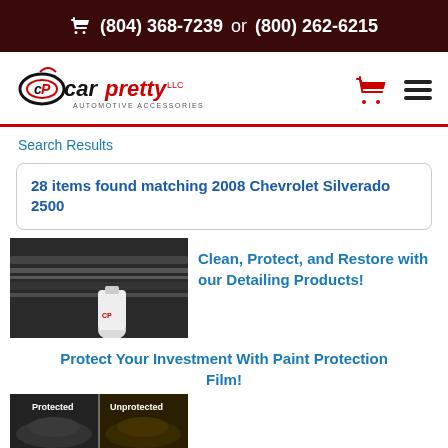(804) 368-7239 or (800) 262-6215
[Figure (logo): CarPretty LLC Automotive Accessories logo with stylized CP emblem]
[Figure (infographic): Red shopping cart icon and hamburger menu icon]
Search Results
28 items found matching 2008 Chevrolet Silverado 2500
[Figure (photo): Car detailing product bottle on vehicle surface]
Clean, Protect, and Restore with our Detailing Products!
Protect Your Investment With Paint Protection Film!
[Figure (photo): Side by side comparison of Protected vs Unprotected car paint with film]